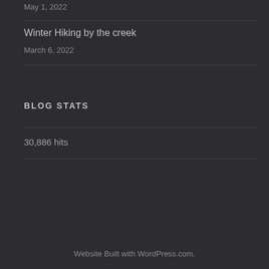May 1, 2022
Winter Hiking by the creek
March 6, 2022
BLOG STATS
30,886 hits
Website Built with WordPress.com.